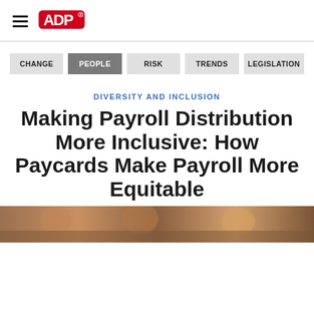ADP
CHANGE | PEOPLE | RISK | TRENDS | LEGISLATION
DIVERSITY AND INCLUSION
Making Payroll Distribution More Inclusive: How Paycards Make Payroll More Equitable
[Figure (photo): Photo of people at the bottom of the page]